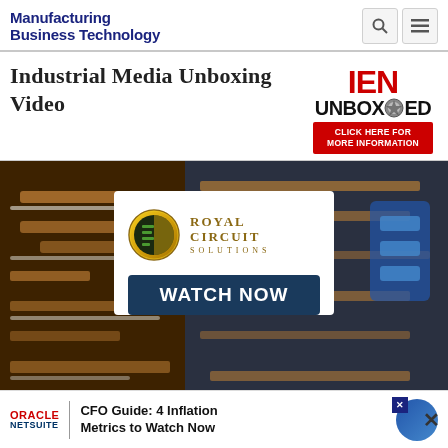Manufacturing Business Technology
Industrial Media Unboxing Video
[Figure (logo): IEN UNBOXED logo with red lettering and gear icon, with red 'CLICK HERE FOR MORE INFORMATION' button]
[Figure (photo): Background: close-up photo of brown/copper PCB circuit boards. Overlaid white card showing Royal Circuit Solutions logo and 'WATCH NOW' dark blue button]
[Figure (logo): Oracle NetSuite advertisement banner: 'CFO Guide: 4 Inflation Metrics to Watch Now']